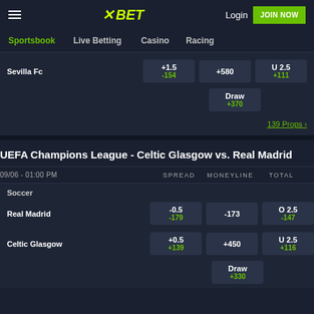[Figure (screenshot): XBet sportsbook website header with logo, Login and JOIN NOW buttons]
Sportsbook | Live Betting | Casino | Racing
| Team | SPREAD | MONEYLINE | TOTAL |
| --- | --- | --- | --- |
| Sevilla Fc | +1.5 / -154 | +580 | U 2.5 / +111 |
|  | Draw +370 |  |  |
139 Props >
UEFA Champions League - Celtic Glasgow vs. Real Madrid
| 09/06 - 01:00 PM | SPREAD | MONEYLINE | TOTAL |
| --- | --- | --- | --- |
| Soccer |  |  |  |
| Real Madrid | -0.5 / -179 | -173 | O 2.5 / -147 |
| Celtic Glasgow | +0.5 / +139 | +450 | U 2.5 / +116 |
| Draw |  | +330 |  |